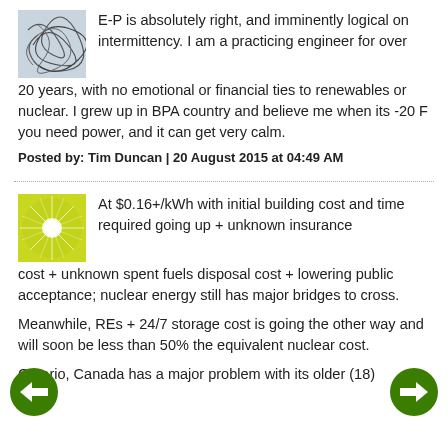E-P is absolutely right, and imminently logical on intermittency. I am a practicing engineer for over 20 years, with no emotional or financial ties to renewables or nuclear. I grew up in BPA country and believe me when its -20 F you need power, and it can get very calm.
Posted by: Tim Duncan | 20 August 2015 at 04:49 AM
At $0.16+/kWh with initial building cost and time required going up + unknown insurance cost + unknown spent fuels disposal cost + lowering public acceptance; nuclear energy still has major bridges to cross.
Meanwhile, REs + 24/7 storage cost is going the other way and will soon be less than 50% the equivalent nuclear cost.
Ontario, Canada has a major problem with its older (18)